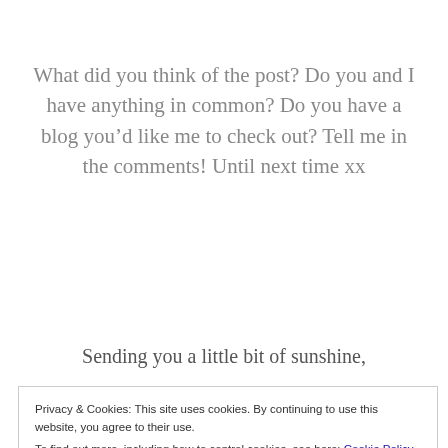What did you think of the post? Do you and I have anything in common? Do you have a blog you’d like me to check out? Tell me in the comments! Until next time xx
Sending you a little bit of sunshine,
Privacy & Cookies: This site uses cookies. By continuing to use this website, you agree to their use.
To find out more, including how to control cookies, see here: Cookie Policy
Close and accept